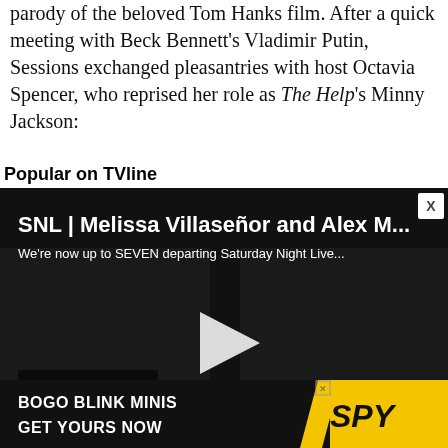parody of the beloved Tom Hanks film. After a quick meeting with Beck Bennett's Vladimir Putin, Sessions exchanged pleasantries with host Octavia Spencer, who reprised her role as The Help's Minny Jackson:
Popular on TVline
[Figure (screenshot): Video thumbnail showing two people against dark background with TVLine NewsLine logo overlay. Title: 'SNL | Melissa Villaseñor and Alex M...' Subtitle: 'We're now up to SEVEN departing Saturday Night Live...' with play button in center.]
[Figure (photo): Advertisement banner: black background with white bold text 'BOGO BLINK MINIS / GET YOURS NOW' and yellow SPY logo on right side.]